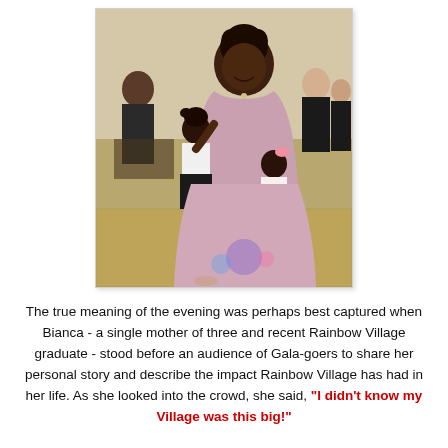[Figure (photo): A smiling young Black woman in a pink strapless gown poses with two young girls, one wearing a white and red outfit and one in a pink dress, at what appears to be a formal gala event indoors.]
The true meaning of the evening was perhaps best captured when Bianca - a single mother of three and recent Rainbow Village graduate - stood before an audience of Gala-goers to share her personal story and describe the impact Rainbow Village has had in her life. As she looked into the crowd, she said, "I didn't know my Village was this big!"